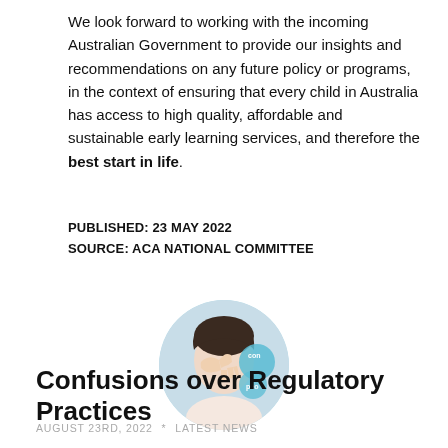We look forward to working with the incoming Australian Government to provide our insights and recommendations on any future policy or programs, in the context of ensuring that every child in Australia has access to high quality, affordable and sustainable early learning services, and therefore the best start in life.
PUBLISHED: 23 MAY 2022
SOURCE: ACA NATIONAL COMMITTEE
[Figure (photo): Circular thumbnail photo of a woman holding her hand to her face/nose, appearing stressed, with blue bubble text overlay partially visible showing words like 'con' and 'peo']
Confusions over Regulatory Practices
AUGUST 23RD, 2022  *  LATEST NEWS